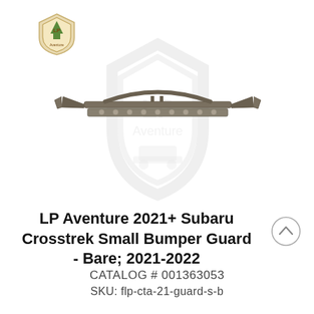[Figure (logo): LP Aventure shield-shaped logo with mountain/tree design in brown and green tones]
[Figure (photo): LP Aventure 2021+ Subaru Crosstrek Small Bumper Guard - Bare product photo, front/top view showing metal bumper guard with tube frame and light bar, displayed against white background with faint LP Aventure watermark logo]
LP Aventure 2021+ Subaru Crosstrek Small Bumper Guard - Bare; 2021-2022
CATALOG # 001363053
SKU: flp-cta-21-guard-s-b